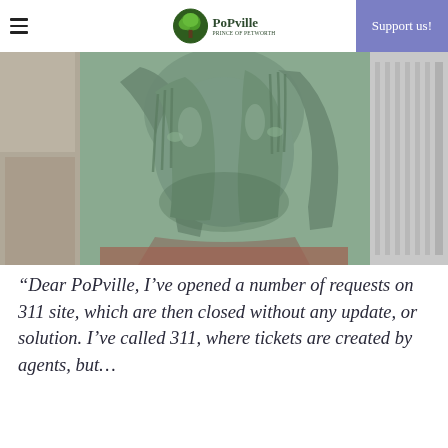PoPville — Support us!
[Figure (photo): Close-up photograph of a bronze sculpture showing a person covering their face with both hands, appearing distressed. The statue is green-patinated bronze, photographed outdoors.]
“Dear PoPville, I’ve opened a number of requests on 311 site, which are then closed without any update, or solution. I’ve called 311, where tickets are created by agents, but…